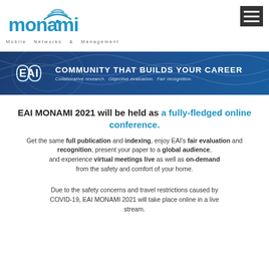[Figure (logo): MONAMI logo with wifi icon and text 'Mobile Networks & Management']
[Figure (logo): EAI banner with logo, 'COMMUNITY THAT BUILDS YOUR CAREER', 'Collaborative research. Objective evaluation. Fair recognition.']
EAI MONAMI 2021 will be held as a fully-fledged online conference.
Get the same full publication and indexing, enjoy EAI's fair evaluation and recognition, present your paper to a global audience, and experience virtual meetings live as well as on-demand from the safety and comfort of your home.
Due to the safety concerns and travel restrictions caused by COVID-19, EAI MONAMI 2021 will take place online in a live stream.